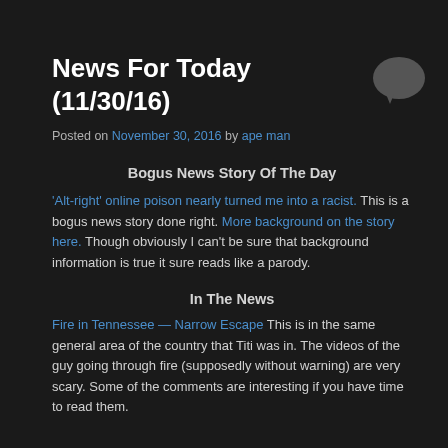News For Today (11/30/16)
Posted on November 30, 2016 by ape man
Bogus News Story Of The Day
'Alt-right' online poison nearly turned me into a racist. This is a bogus news story done right. More background on the story here. Though obviously I can't be sure that background information is true it sure reads like a parody.
In The News
Fire in Tennessee — Narrow Escape This is in the same general area of the country that Titi was in. The videos of the guy going through fire (supposedly without warning) are very scary. Some of the comments are interesting if you have time to read them.